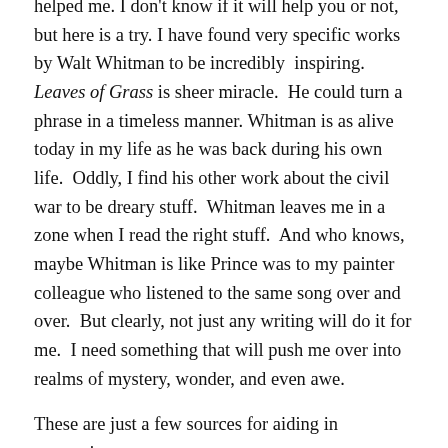helped me.  I don't know if it will help you or not, but here is a try.  I have found very specific works by Walt Whitman to be incredibly inspiring.  Leaves of Grass is sheer miracle.  He could turn a phrase in a timeless manner. Whitman is as alive today in my life as he was back during his own life.  Oddly, I find his other work about the civil war to be dreary stuff.  Whitman leaves me in a zone when I read the right stuff.  And who knows, maybe Whitman is like Prince was to my painter colleague who listened to the same song over and over.  But clearly, not just any writing will do it for me.  I need something that will push me over into realms of mystery, wonder, and even awe.
These are just a few sources for aiding in supporting